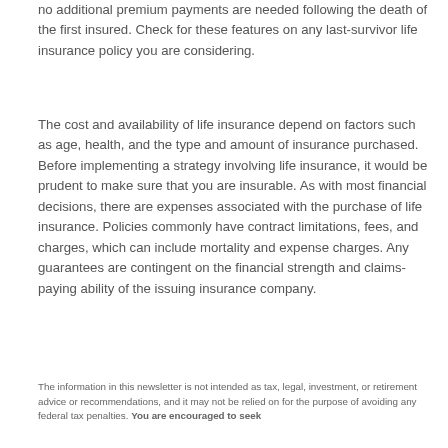no additional premium payments are needed following the death of the first insured. Check for these features on any last-survivor life insurance policy you are considering.
The cost and availability of life insurance depend on factors such as age, health, and the type and amount of insurance purchased. Before implementing a strategy involving life insurance, it would be prudent to make sure that you are insurable. As with most financial decisions, there are expenses associated with the purchase of life insurance. Policies commonly have contract limitations, fees, and charges, which can include mortality and expense charges. Any guarantees are contingent on the financial strength and claims-paying ability of the issuing insurance company.
The information in this newsletter is not intended as tax, legal, investment, or retirement advice or recommendations, and it may not be relied on for the purpose of avoiding any federal tax penalties. You are encouraged to seek